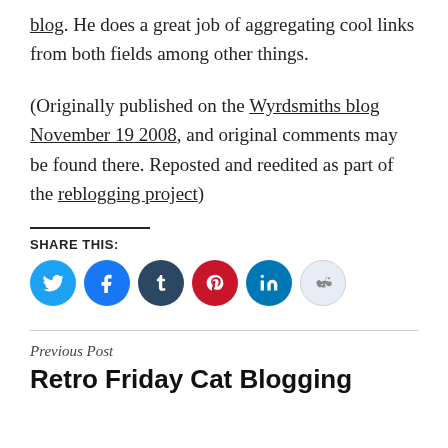blog. He does a great job of aggregating cool links from both fields among other things.
(Originally published on the Wyrdsmiths blog November 19 2008, and original comments may be found there. Reposted and reedited as part of the reblogging project)
SHARE THIS:
[Figure (infographic): Row of six social media share icon buttons: Twitter (blue), Facebook (blue), Tumblr (dark navy), Pinterest (red), LinkedIn (blue), Reddit (light blue/grey)]
Previous Post
Retro Friday Cat Blogging